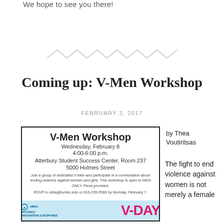We hope to see you there!
[Figure (illustration): Decorative zigzag/chevron divider pattern in light gray]
Coming up: V-Men Workshop
FEBRUARY 2, 2017
[Figure (illustration): V-Men Workshop event flyer: Wednesday, February 8, 4:00-6:00 p.m., Atterbury Student Success Center, Room 237, 5000 Holmes Street. Join a group of dedicated V-Men and participate in a conversation about ending violence against women and girls. This workshop is open to MEN ONLY. Pizza provided. RSVP to ottokj@umkc.edu or 816-235-5560 by Monday, February 7. UMKC Violence Prevention & Response logo. V-DAY text in pink.]
by Thea Voutiritsas
The fight to end violence against women is not merely a female